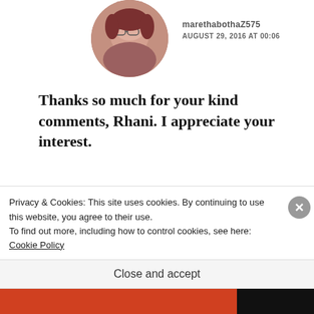[Figure (photo): Circular avatar photo of a woman with glasses, partial view at top of page]
marethabothaZ575
AUGUST 29, 2016 AT 00:06
Thanks so much for your kind comments, Rhani. I appreciate your interest.
★ Like
REPLY
[Figure (photo): Circular avatar photo of Micki Peluso, a woman with curly blonde hair]
Micki Peluso
AUGUST 29, 2016 AT 00:15
Privacy & Cookies: This site uses cookies. By continuing to use this website, you agree to their use.
To find out more, including how to control cookies, see here: Cookie Policy
Close and accept